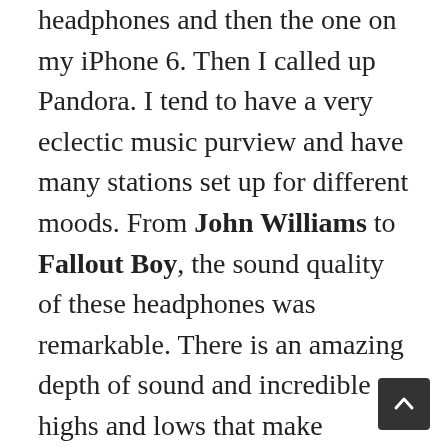headphones and then the one on my iPhone 6. Then I called up Pandora. I tend to have a very eclectic music purview and have many stations set up for different moods. From John Williams to Fallout Boy, the sound quality of these headphones was remarkable. There is an amazing depth of sound and incredible highs and lows that make listening to music a truly breathtaking experience.
In order to test how voices sounded, and the overall art of sound mixing, I pulled up Netflix on my iPad Air 2 and watched a few minutes of a movie to hear all the nuances of the film. None of them were lost. In fact, I ended up